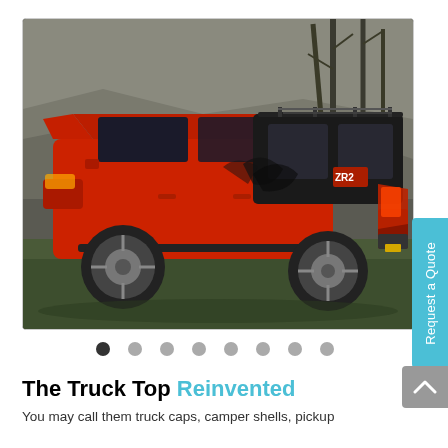[Figure (photo): Red Chevrolet Colorado truck with a black truck cap/camper shell and roof rack rails, parked on grass in front of rocky cliffs and bare trees. The truck has decorative black splash graphics on the side. Viewed from the rear quarter angle.]
The Truck Top Reinvented
You may call them truck caps, camper shells, pickup